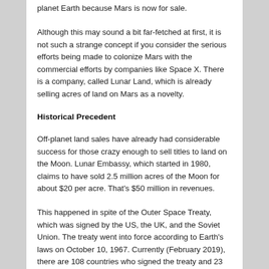planet Earth because Mars is now for sale.
Although this may sound a bit far-fetched at first, it is not such a strange concept if you consider the serious efforts being made to colonize Mars with the commercial efforts by companies like Space X. There is a company, called Lunar Land, which is already selling acres of land on Mars as a novelty.
Historical Precedent
Off-planet land sales have already had considerable success for those crazy enough to sell titles to land on the Moon. Lunar Embassy, which started in 1980, claims to have sold 2.5 million acres of the Moon for about $20 per acre. That's $50 million in revenues.
This happened in spite of the Outer Space Treaty, which was signed by the US, the UK, and the Soviet Union. The treaty went into force according to Earth's laws on October 10, 1967. Currently (February 2019), there are 108 countries who signed the treaty and 23 more who